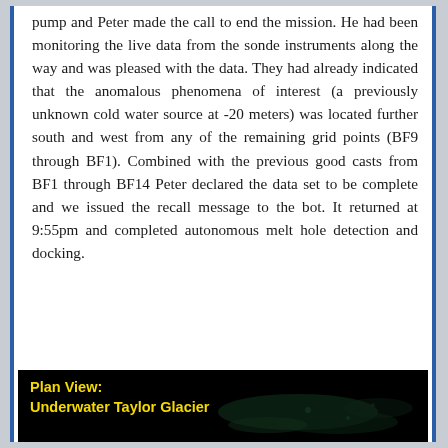pump and Peter made the call to end the mission. He had been monitoring the live data from the sonde instruments along the way and was pleased with the data. They had already indicated that the anomalous phenomena of interest (a previously unknown cold water source at -20 meters) was located further south and west from any of the remaining grid points (BF9 through BF1). Combined with the previous good casts from BF1 through BF14 Peter declared the data set to be complete and we issued the recall message to the bot. It returned at 9:55pm and completed autonomous melt hole detection and docking.
[Figure (photo): Plan View: Underwater Taylor Glacier — dark underwater image with faint green/teal features visible in background]